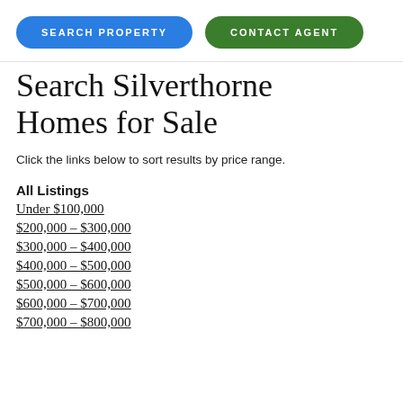SEARCH PROPERTY | CONTACT AGENT
Search Silverthorne Homes for Sale
Click the links below to sort results by price range.
All Listings
Under $100,000
$200,000 - $300,000
$300,000 - $400,000
$400,000 - $500,000
$500,000 - $600,000
$600,000 - $700,000
$700,000 - $800,000